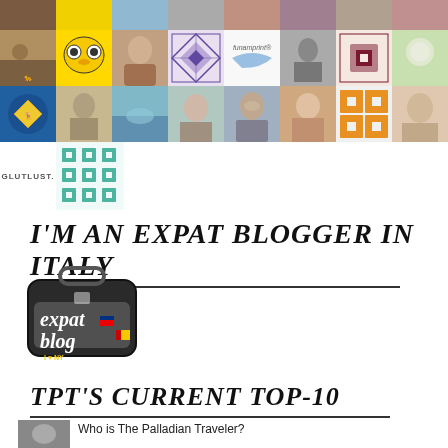[Figure (photo): Grid of avatar/profile photos and icons arranged in rows, including animal photos, quilt patterns, portraits, logos]
I'M AN EXPAT BLOGGER IN ITALY
[Figure (logo): Expat Blog logo - suitcase with 'expat blog' text and country flag stickers]
TPT'S CURRENT TOP-10
[Figure (photo): Small thumbnail photo]
Who is The Palladian Traveler?